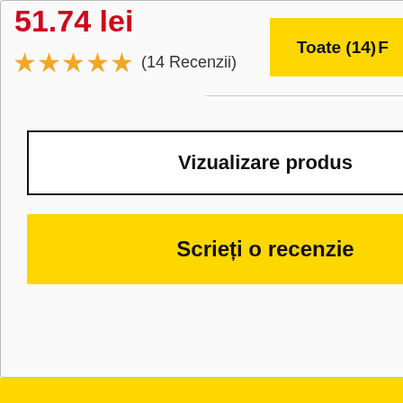51.74 lei
★★★★★ (14 Recenzii)
Vizualizare produs
Scrieți o recenzie
Toate (14)
F
Popular Searches: caz de caz   samsung galaxy   de silic ecran de protecție   pentru galaxie   c